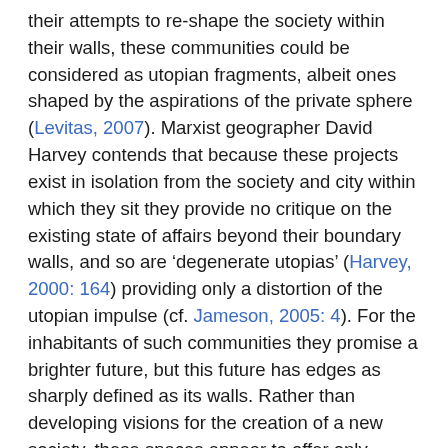their attempts to re-shape the society within their walls, these communities could be considered as utopian fragments, albeit ones shaped by the aspirations of the private sphere (Levitas, 2007). Marxist geographer David Harvey contends that because these projects exist in isolation from the society and city within which they sit they provide no critique on the existing state of affairs beyond their boundary walls, and so are ‘degenerate utopias’ (Harvey, 2000: 164) providing only a distortion of the utopian impulse (cf. Jameson, 2005: 4). For the inhabitants of such communities they promise a brighter future, but this future has edges as sharply defined as its walls. Rather than developing visions for the creation of a new society, these spaces appear to offer only retreat from its existing ‘undesirable’ elements.
However, following utopian theorist Ruth Levitas’ utopian methodology the delineation and definition of implicit utopian intent can provide critical insight into the principles which underpin social, and by extension urban, developments (Levitas, 2013). Through what she calls the ‘archaeological’ mode of utopian thought, Levitas